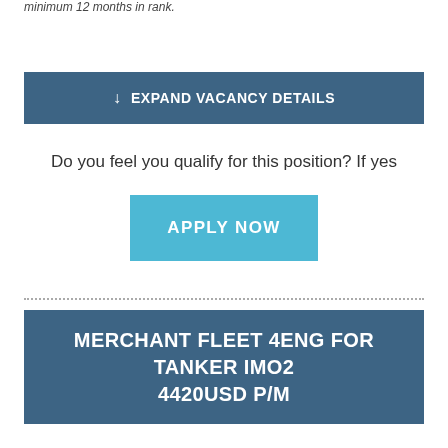minimum 12 months in rank.
EXPAND VACANCY DETAILS
Do you feel you qualify for this position? If yes
APPLY NOW
MERCHANT FLEET 4ENG FOR TANKER IMO2 4420USD P/M